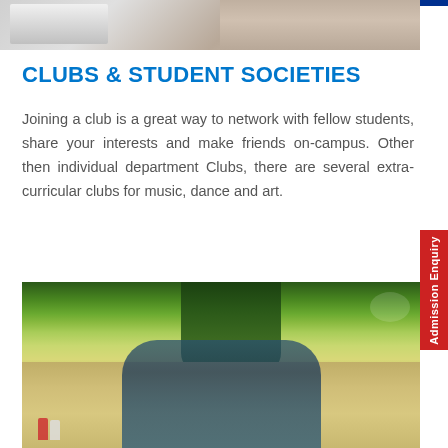[Figure (photo): Partial photo at top of page showing books/study materials and a person, cropped at top]
CLUBS & STUDENT SOCIETIES
Joining a club is a great way to network with fellow students, share your interests and make friends on-campus. Other then individual department Clubs, there are several extra-curricular clubs for music, dance and art.
[Figure (photo): Photo of students walking on campus under green trees, outdoor setting with open grounds and chairs visible in background]